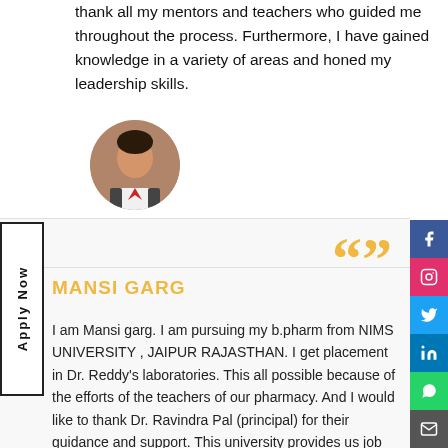thank all my mentors and teachers who guided me throughout the process. Furthermore, I have gained knowledge in a variety of areas and honed my leadership skills.
[Figure (photo): Circular profile photo of a young man in formal attire]
MANSI GARG
I am Mansi garg. I am pursuing my b.pharm from NIMS UNIVERSITY , JAIPUR RAJASTHAN. I get placement in Dr. Reddy's laboratories. This all possible because of the efforts of the teachers of our pharmacy. And I would like to thank Dr. Ravindra Pal (principal) for their guidance and support. This university provides us job opportunities which are very beneficial for us. I am